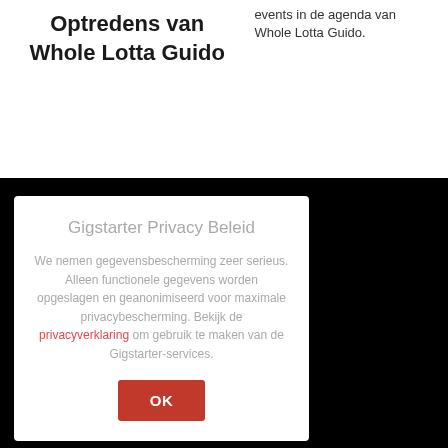Optredens van Whole Lotta Guido
events in de agenda van Whole Lotta Guido.
Gigstarter Privacy Beleid
We nemen gegevensbescherming zeer serieus. Alleen functionele gegevens worden opgeslagen en geanonimiseerd voor maximale privacybescherming. Bekijk de privacyverklaring om gebruik te maken van de Gigstarter-services.
OK
Voor boekers